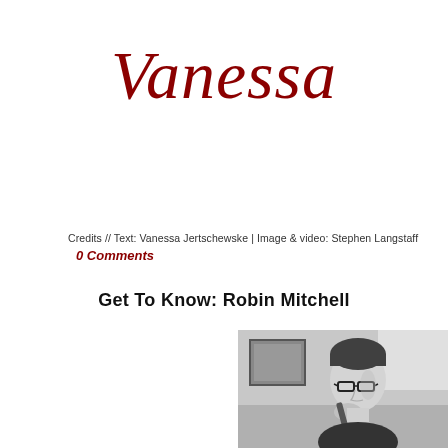Vanessa
Credits // Text: Vanessa Jertschewske | Image & video: Stephen Langstaff
0 Comments
Get To Know: Robin Mitchell
[Figure (photo): Black and white photograph of a man playing a wind instrument (clarinet or similar), wearing glasses, viewed from the side/front in an indoor setting.]